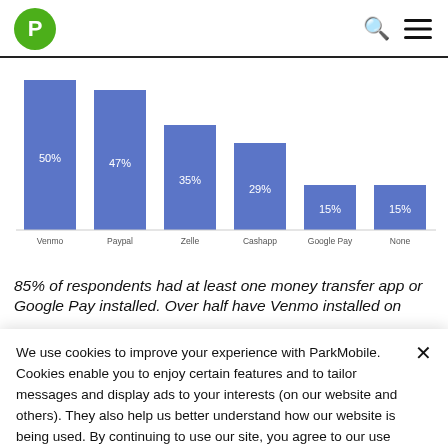ParkMobile logo, search icon, menu icon
[Figure (bar-chart): Money transfer app usage]
85% of respondents had at least one money transfer app or Google Pay installed. Over half have Venmo installed on
We use cookies to improve your experience with ParkMobile. Cookies enable you to enjoy certain features and to tailor messages and display ads to your interests (on our website and others). They also help us better understand how our website is being used. By continuing to use our site, you agree to our use